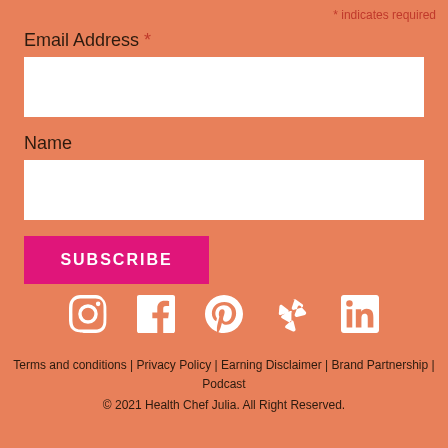* indicates required
Email Address *
Name
SUBSCRIBE
[Figure (infographic): Row of five social media icons: Instagram, Facebook, Pinterest, Yelp, LinkedIn — all white on salmon background]
Terms and conditions | Privacy Policy | Earning Disclaimer | Brand Partnership | Podcast
© 2021 Health Chef Julia. All Right Reserved.